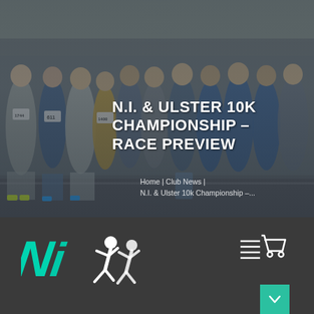[Figure (photo): Crowd of runners at the start line of a road race, wearing numbered bibs. Numbers visible include 1744, 611, 1400, 34, 20. Overcast outdoor setting.]
N.I. & ULSTER 10K CHAMPIONSHIP – RACE PREVIEW
Home | Club News | N.I. & Ulster 10k Championship –...
[Figure (logo): NI Running logo: italic teal NI letters with white running figure icon]
[Figure (logo): Shopping cart / lines icon in white on dark background, top right of footer]